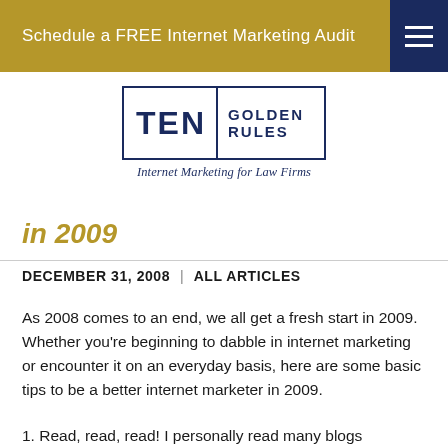Schedule a FREE Internet Marketing Audit
[Figure (logo): Ten Golden Rules logo — 'TEN' on left separated by vertical line, 'GOLDEN RULES' on right, tagline 'Internet Marketing for Law Firms' below]
in 2009
DECEMBER 31, 2008  |  ALL ARTICLES
As 2008 comes to an end, we all get a fresh start in 2009. Whether you’re beginning to dabble in internet marketing or encounter it on an everyday basis, here are some basic tips to be a better internet marketer in 2009.
1. Read, read, read! I personally read many blogs